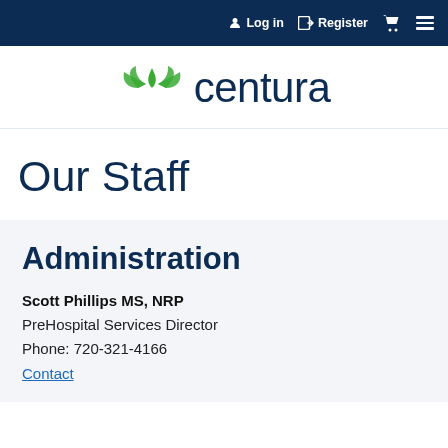Log in  Register
[Figure (logo): Centura Health logo with green leaf/arrow icon and dark navy 'centura' wordmark]
Our Staff
Administration
Scott Phillips MS, NRP
PreHospital Services Director
Phone: 720-321-4166
Contact